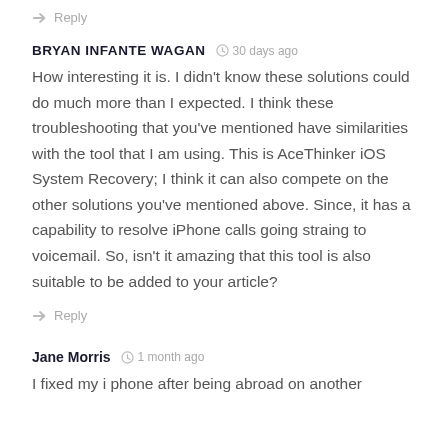Reply
BRYAN INFANTE WAGAN  30 days ago
How interesting it is. I didn't know these solutions could do much more than I expected. I think these troubleshooting that you've mentioned have similarities with the tool that I am using. This is AceThinker iOS System Recovery; I think it can also compete on the other solutions you've mentioned above. Since, it has a capability to resolve iPhone calls going straing to voicemail. So, isn't it amazing that this tool is also suitable to be added to your article?
Reply
Jane Morris  1 month ago
I fixed my i phone after being abroad on another